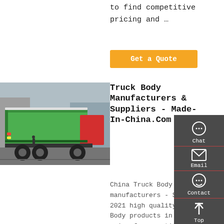to find competitive pricing and …
Get a Quote
[Figure (photo): Green dump truck photographed from the rear-side at an outdoor location]
Truck Body Manufacturers & Suppliers - Made-In-China.Com
China Truck Body manufacturers - Select 2021 high quality Truck Body products in best price from certified Chinese Truck, Valve
[Figure (other): Sidebar with Chat, Email, Contact, and Top icons on dark grey background]